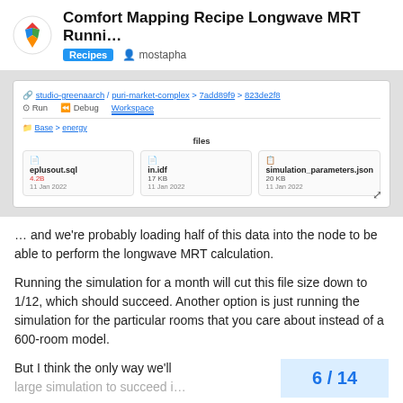Comfort Mapping Recipe Longwave MRT Runni... | Recipes | mostapha
[Figure (screenshot): GitHub repository file browser screenshot showing studio-greenaarch/puri-market-complex > 7add89f9 > 823de2f8 with files: eplusout.sql, in.idf, simulation_parameters.json]
… and we're probably loading half of this data into the node to be able to perform the longwave MRT calculation.
Running the simulation for a month will cut this file size down to 1/12, which should succeed. Another option is just running the simulation for the particular rooms that you care about instead of a 600-room model.
But I think the only way we'll
6 / 14